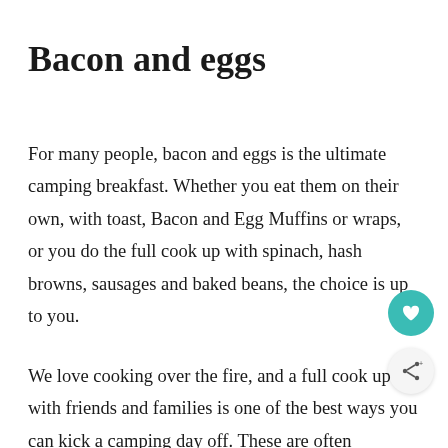Bacon and eggs
For many people, bacon and eggs is the ultimate camping breakfast. Whether you eat them on their own, with toast, Bacon and Egg Muffins or wraps, or you do the full cook up with spinach, hash browns, sausages and baked beans, the choice is up to you.
We love cooking over the fire, and a full cook up with friends and families is one of the best ways you can kick a camping day off. These are often